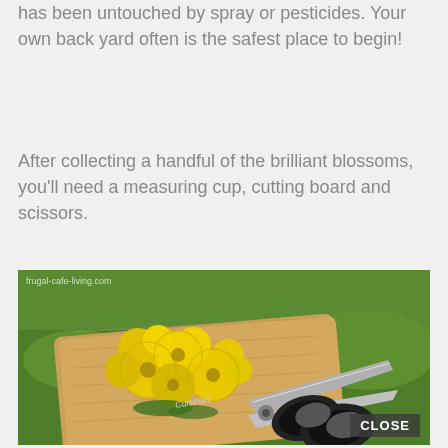has been untouched by spray or pesticides. Your own back yard often is the safest place to begin!
After collecting a handful of the brilliant blossoms, you'll need a measuring cup, cutting board and scissors.
[Figure (photo): Yellow dandelion blossoms piled on a wooden cutting board on green grass, with a pair of black Cuisinart scissors resting beside them. A watermark reads 'frugal-cafe-living.com'. A 'CLOSE' button appears in the bottom right corner.]